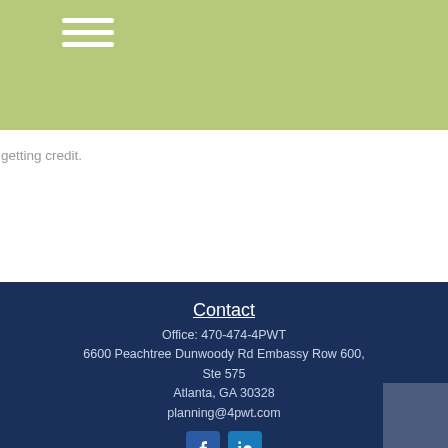[Figure (other): Hamburger menu icon — three white horizontal lines on green/olive background header]
getting credit.
Contact
Office: 470-474-4PWT
6600 Peachtree Dunwoody Rd Embassy Row 600, Ste 575
Atlanta, GA 30328
planning@4pwt.com
[Figure (other): Facebook and LinkedIn social media icon buttons]
Quick Links
Retirement
Investment
Estate